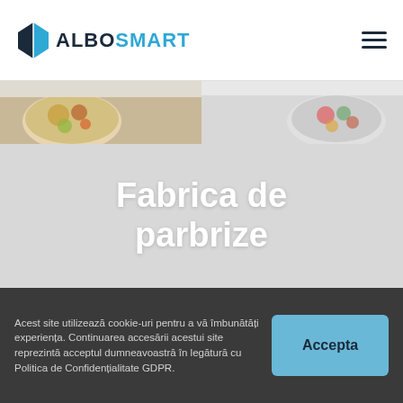ALBOSMART
[Figure (photo): Banner with food bowls image — salads and dishes on light background]
Fabrica de parbrize
Acest site utilizează cookie-uri pentru a vă îmbunătăți experiența. Continuarea accesării acestui site reprezintă acceptul dumneavoastră în legătură cu Politica de Confidențialitate GDPR.